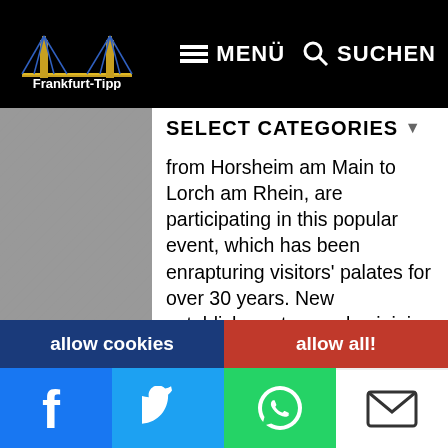[Figure (screenshot): Frankfurt-Tipp website screenshot showing navigation bar with logo, MENÜ and SUCHEN buttons, SELECT CATEGORIES dropdown, article text about Rheingau Gourmet Weeks, cookie consent overlay, tooltip, Frankfurt-Tipp promotional box, allow cookies/allow all bar, and social media sharing bar at bottom]
Frankfurt-Tipp | MENÜ | SUCHEN
SELECT CATEGORIES
from Horsheim am Main to Lorch am Rhein, are participating in this popular event, which has been enrapturing visitors' palates for over 30 years. New establishments are also joining the culinary event all the time, which makes for tasty changes year after year. In 2017, the Leitz Winery from Rüdesheim, the TrinksTrinks Winery from Geisenheim, the Hirt-Gebhardts from Eltville, Die Hallgartener Weinkellerei e.G., the Prinz von Hessen winery, and the new restaurateurs "Am Niederwald" new on board.
We use cookies and other tracking technologies to personalize and improve your experience. By continuing to use our website, you agree to this. statistics
Tooltip schließen
Frankfurt-Tipp auf einen Klick!
Erinnerung an Bildschirm hinzufügen,
The Rheingau Gourmet Weeks don't just inspire with original culinary
allow cookies
allow all!